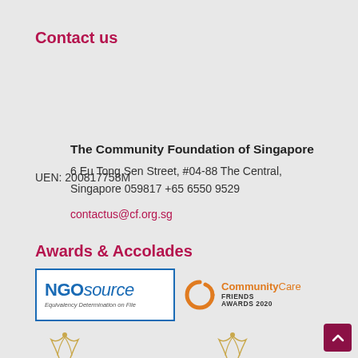Contact us
The Community Foundation of Singapore
6 Eu Tong Sen Street, #04-88 The Central, Singapore 059817 +65 6550 9529
contactus@cf.org.sg
UEN: 200817758M
Awards & Accolades
[Figure (logo): NGOsource Equivalency Determination on File logo in blue border box, and CommunityCare Friends Awards 2020 logo with orange C icon]
[Figure (logo): Charity Transparency and Charity Governance award logos with golden butterfly/crane motifs]